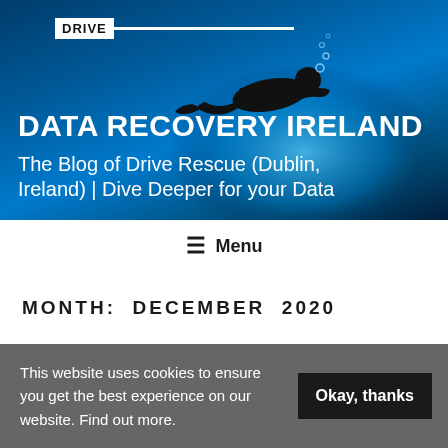[Figure (photo): Website header banner with scuba diver silhouette swimming underwater against a blue ocean background, with Drive Rescue logo (white box with text and horizontal white line) in the top area]
DATA RECOVERY IRELAND
The Blog of Drive Rescue (Dublin, Ireland) | Dive Deeper for your Data
≡ Menu
MONTH: DECEMBER 2020
This website uses cookies to ensure you get the best experience on our website. Find out more.